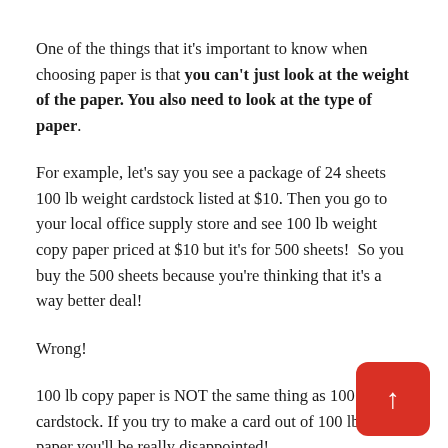One of the things that it's important to know when choosing paper is that you can't just look at the weight of the paper. You also need to look at the type of paper.
For example, let's say you see a package of 24 sheets 100 lb weight cardstock listed at $10. Then you go to your local office supply store and see 100 lb weight copy paper priced at $10 but it's for 500 sheets!  So you buy the 500 sheets because you're thinking that it's a way better deal!
Wrong!
100 lb copy paper is NOT the same thing as 100 lb cardstock. If you try to make a card out of 100 lb copy paper you'll be really disappointed!
So how can two different papers have the same weight, but not be the same weight?